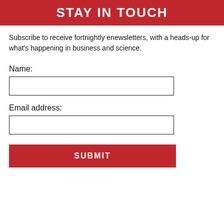STAY IN TOUCH
Subscribe to receive fortnightly enewsletters, with a heads-up for what's happening in business and science.
Name:
Email address:
SUBMIT